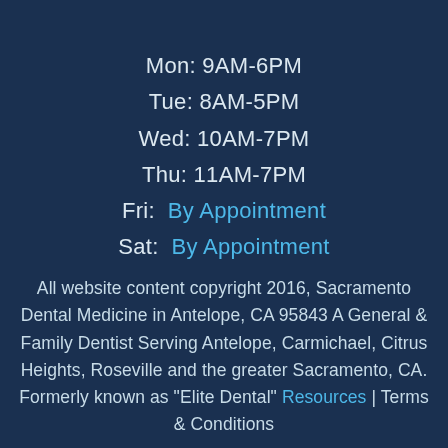Mon: 9AM-6PM
Tue: 8AM-5PM
Wed: 10AM-7PM
Thu: 11AM-7PM
Fri:  By Appointment
Sat:  By Appointment
All website content copyright 2016, Sacramento Dental Medicine in Antelope, CA 95843 A General & Family Dentist Serving Antelope, Carmichael, Citrus Heights, Roseville and the greater Sacramento, CA. Formerly known as "Elite Dental" Resources | Terms & Conditions